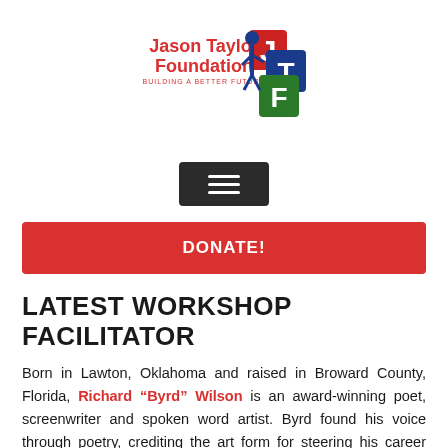[Figure (logo): Jason Taylor Foundation logo with text 'Jason Taylor Foundation - Building a Better Future' and colorful block letters J, T, F with a figure of a child]
[Figure (other): Dark hamburger menu button (three horizontal lines)]
DONATE!
LATEST WORKSHOP FACILITATOR
Born in Lawton, Oklahoma and raised in Broward County, Florida, Richard “Byrd” Wilson is an award-winning poet, screenwriter and spoken word artist. Byrd found his voice through poetry, crediting the art form for steering his career direction and rerouting his ambitions.